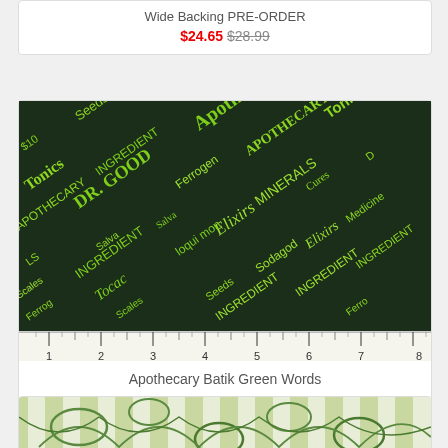Wide Backing PRE-ORDER
$24.65 $28.99
[Figure (photo): Dark green apothecary batik fabric with lime green text words (Apothecary, Tonics, Minerals, Elixirs, Dr. Good, Seeds, Ingredients, Scales, Ferrogen, etc.) printed at diagonal angles, shown with a ruler at the bottom measuring up to 8 inches]
Apothecary Batik Green Words
$13.99
[Figure (photo): Partial view of another fabric with light green and white striped pattern with green leaf/vine designs]